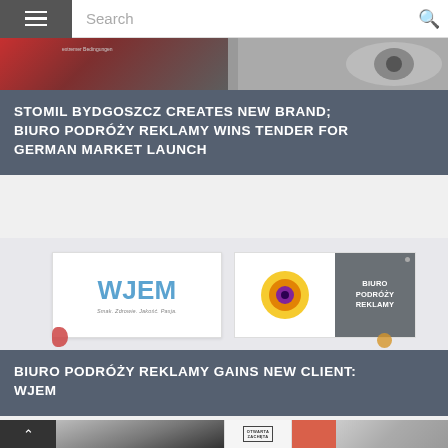Search
[Figure (photo): Partial image with red/dark tones on left and grey tones on right, with small text overlay]
STOMIL BYDGOSZCZ CREATES NEW BRAND; BIURO PODRÓŻY REKLAMY WINS TENDER FOR GERMAN MARKET LAUNCH
[Figure (logo): Two logo cards: WJEM (blue text, tagline 'Smak. Zdrowie. Jakość. Pasja.') and Biuro Podróży Reklamy (circle emblem + grey text block)]
BIURO PODRÓŻY REKLAMY GAINS NEW CLIENT: WJEM
[Figure (photo): Bottom thumbnail strip with back-to-top button, black-and-white photo, Otwarta Zachęta logo, orange square, and small group photo]